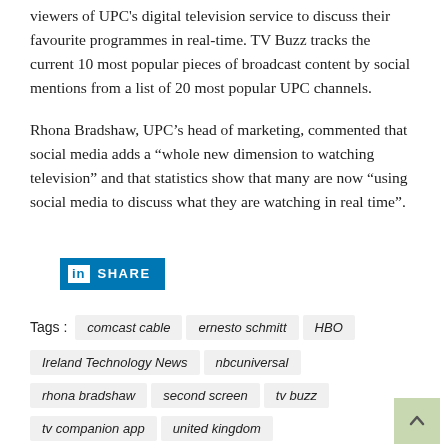viewers of UPC's digital television service to discuss their favourite programmes in real-time. TV Buzz tracks the current 10 most popular pieces of broadcast content by social mentions from a list of 20 most popular UPC channels.
Rhona Bradshaw, UPC's head of marketing, commented that social media adds a “whole new dimension to watching television” and that statistics show that many are now “using social media to discuss what they are watching in real time”.
[Figure (other): LinkedIn Share button with blue background and 'in' logo icon]
Tags : comcast cable   ernesto schmitt   HBO   Ireland Technology News   nbcuniversal   rhona bradshaw   second screen   tv buzz   tv companion app   united kingdom